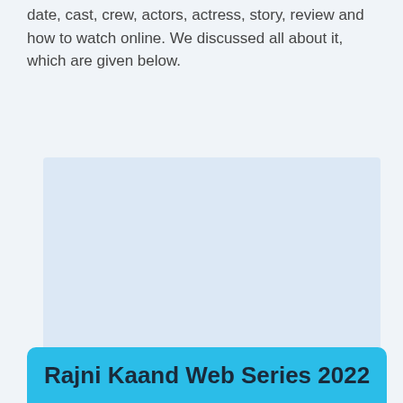date, cast, crew, actors, actress, story, review and how to watch online. We discussed all about it, which are given below.
[Figure (photo): Image placeholder area with light blue background, likely a promotional image for Rajni Kaand Web Series]
Rajni Kaand Web Series 2022